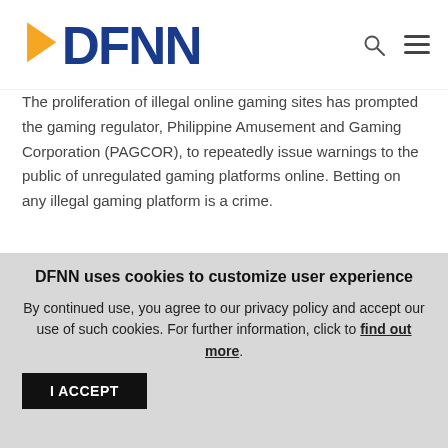DFNN logo with search and menu icons
The proliferation of illegal online gaming sites has prompted the gaming regulator, Philippine Amusement and Gaming Corporation (PAGCOR), to repeatedly issue warnings to the public of unregulated gaming platforms online. Betting on any illegal gaming platform is a crime.
Archives
July 2021
DFNN uses cookies to customize user experience
By continued use, you agree to our privacy policy and accept our use of such cookies. For further information, click to find out more.
I ACCEPT